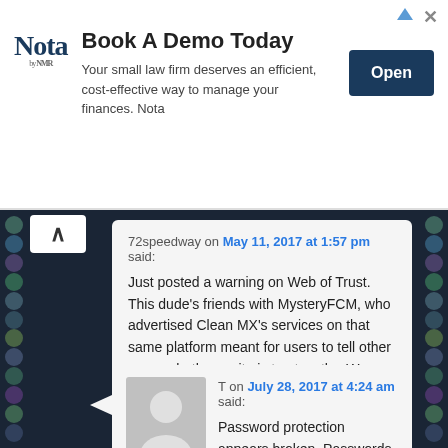[Figure (other): Advertisement banner for Nota (by NMR). Title: Book A Demo Today. Body: Your small law firm deserves an efficient, cost-effective way to manage your finances. Nota. Button: Open.]
72speedway on May 11, 2017 at 1:57 pm said:
Just posted a warning on Web of Trust. This dude's friends with MysteryFCM, who advertised Clean MX's services on that same platform meant for users to tell other users whether a site is trustworthy. Wow.
Reply ↓
[Figure (illustration): Generic user avatar: grey silhouette of a person on grey background]
T on July 28, 2017 at 4:24 am said:
Password protection appears broken. Passwords